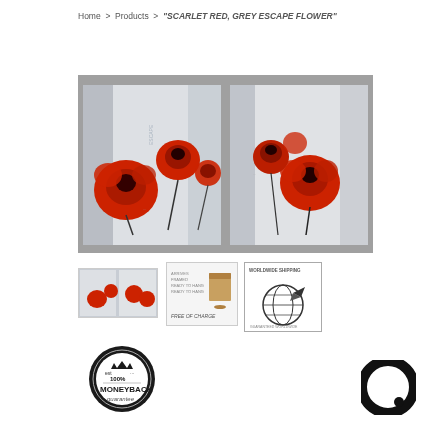Home > Products > "SCARLET RED, GREY ESCAPE FLOWER"
[Figure (photo): Two canvas paintings side by side showing scarlet red flowers on grey/white abstract background]
[Figure (photo): Thumbnail of the two canvas paintings]
[Figure (illustration): Packaging/shipping box icon with text FREE OF CHARGE]
[Figure (logo): Worldwide shipping logo with globe and airplane icon]
[Figure (logo): 100% Money Back Guarantee circular badge]
[Figure (logo): Chat/message circular icon]